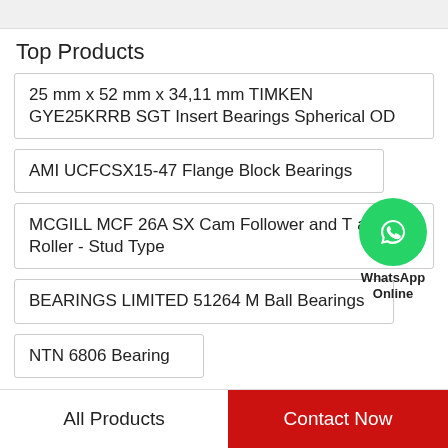Top Products
25 mm x 52 mm x 34,11 mm TIMKEN GYE25KRRB SGT Insert Bearings Spherical OD
AMI UCFCSX15-47 Flange Block Bearings
MCGILL MCF 26A SX Cam Follower and Track Roller - Stud Type
BEARINGS LIMITED 51264 M Ball Bearings
NTN 6806 Bearing
[Figure (logo): WhatsApp Online green phone icon bubble]
All Products
Contact Now